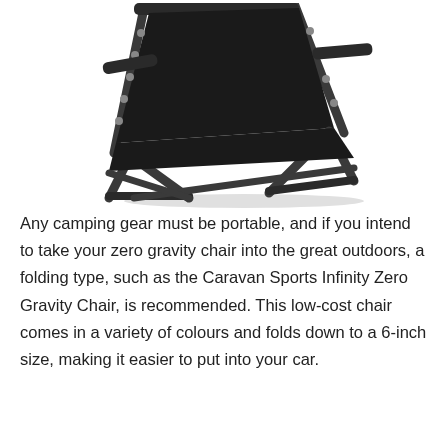[Figure (photo): A black folding zero gravity recliner chair shown at an angle, with a metal tubular frame and black mesh/fabric seat and back, displayed against a white background.]
Any camping gear must be portable, and if you intend to take your zero gravity chair into the great outdoors, a folding type, such as the Caravan Sports Infinity Zero Gravity Chair, is recommended. This low-cost chair comes in a variety of colours and folds down to a 6-inch size, making it easier to put into your car.